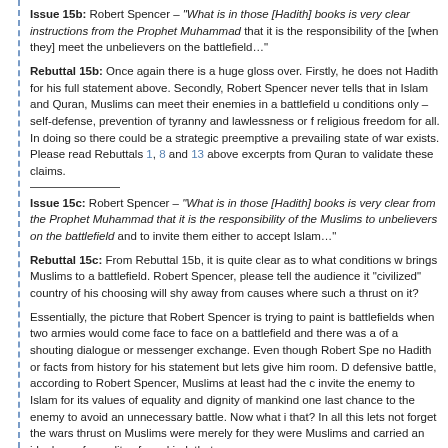Issue 15b: Robert Spencer – "What is in those [Hadith] books is very clear instructions from the Prophet Muhammad that it is the responsibility of the [when they] meet the unbelievers on the battlefield…"
Rebuttal 15b: Once again there is a huge gloss over. Firstly, he does not cite Hadith for his full statement above. Secondly, Robert Spencer never tells that in Islam and Quran, Muslims can meet their enemies in a battlefield under conditions only – self-defense, prevention of tyranny and lawlessness or for religious freedom for all. In doing so there could be a strategic preemptive a prevailing state of war exists. Please read Rebuttals 1, 8 and 13 above excerpts from Quran to validate these claims.
Issue 15c: Robert Spencer – "What is in those [Hadith] books is very clear from the Prophet Muhammad that it is the responsibility of the Muslims to unbelievers on the battlefield and to invite them either to accept Islam…"
Rebuttal 15c: From Rebuttal 15b, it is quite clear as to what conditions w brings Muslims to a battlefield. Robert Spencer, please tell the audience if "civilized" country of his choosing will shy away from causes where such a thrust on it?
Essentially, the picture that Robert Spencer is trying to paint is battlefields when two armies would come face to face on a battlefield and there was a of a shouting dialogue or messenger exchange. Even though Robert Spe no Hadith or facts from history for his statement but lets give him room. D defensive battle, according to Robert Spencer, Muslims at least had the c invite the enemy to Islam for its values of equality and dignity of mankind one last chance to the enemy to avoid an unnecessary battle. Now what i that? In all this lets not forget the wars thrust on Muslims were merely for they were Muslims and carried an ideology of equality of mankind, that wa